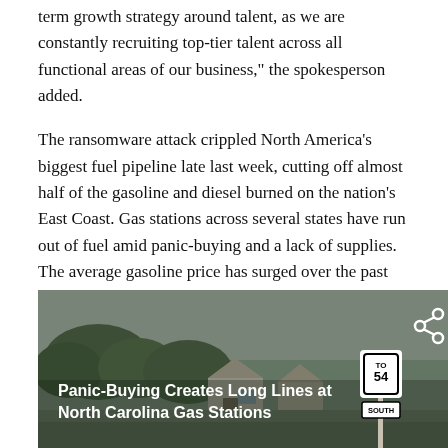term growth strategy around talent, as we are constantly recruiting top-tier talent across all functional areas of our business," the spokesperson added.
The ransomware attack crippled North America's biggest fuel pipeline late last week, cutting off almost half of the gasoline and diesel burned on the nation's East Coast. Gas stations across several states have run out of fuel amid panic-buying and a lack of supplies. The average gasoline price has surged over the past week, ticking above $3 for the first time since 2016, AAA said.
[Figure (photo): Video thumbnail showing a gas station scene with road signs including route 54 south marker. Overlaid text reads 'Panic-Buying Creates Long Lines at North Carolina Gas Stations' with a share icon.]